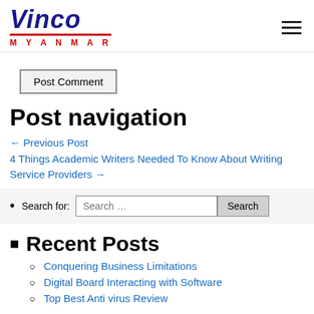Vinco Myanmar
Post Comment
Post navigation
← Previous Post
4 Things Academic Writers Needed To Know About Writing Service Providers →
Search for: [Search ...] [Search]
Recent Posts
Conquering Business Limitations
Digital Board Interacting with Software
Top Best Anti virus Review